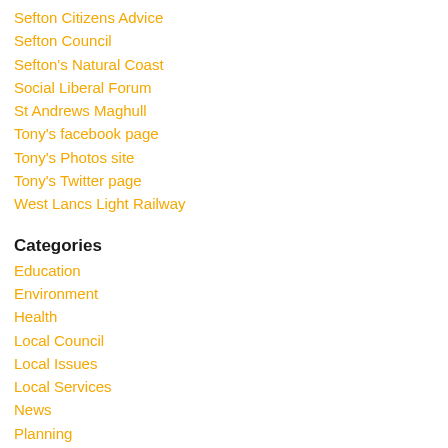Sefton Citizens Advice
Sefton Council
Sefton's Natural Coast
Social Liberal Forum
St Andrews Maghull
Tony's facebook page
Tony's Photos site
Tony's Twitter page
West Lancs Light Railway
Categories
Education
Environment
Health
Local Council
Local Issues
Local Services
News
Planning